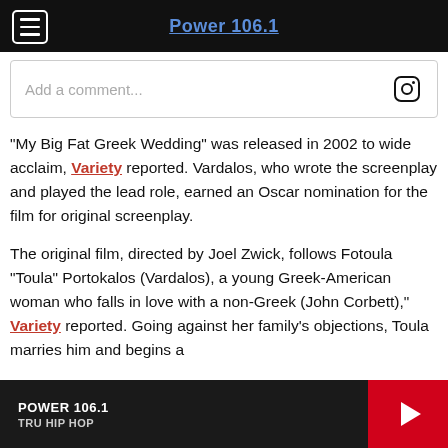Power 106.1
[Figure (screenshot): Comment input box with Instagram icon on the right]
“My Big Fat Greek Wedding” was released in 2002 to wide acclaim, Variety reported. Vardalos, who wrote the screenplay and played the lead role, earned an Oscar nomination for the film for original screenplay.
The original film, directed by Joel Zwick, follows Fotoula “Toula” Portokalos (Vardalos), a young Greek-American woman who falls in love with a non-Greek (John Corbett),” Variety reported. Going against her family’s objections, Toula marries him and begins a
POWER 106.1 TRU HIP HOP